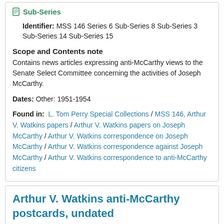Sub-Series
Identifier: MSS 146 Series 6 Sub-Series 8 Sub-Series 3 Sub-Series 14 Sub-Series 15
Scope and Contents note
Contains news articles expressing anti-McCarthy views to the Senate Select Committee concerning the activities of Joseph McCarthy.
Dates: Other: 1951-1954
Found in: L. Tom Perry Special Collections / MSS 146, Arthur V. Watkins papers / Arthur V. Watkins papers on Joseph McCarthy / Arthur V. Watkins correspondence on Joseph McCarthy / Arthur V. Watkins correspondence against Joseph McCarthy / Arthur V. Watkins correspondence to anti-McCarthy citizens
Arthur V. Watkins anti-McCarthy postcards, undated
Sub-Series